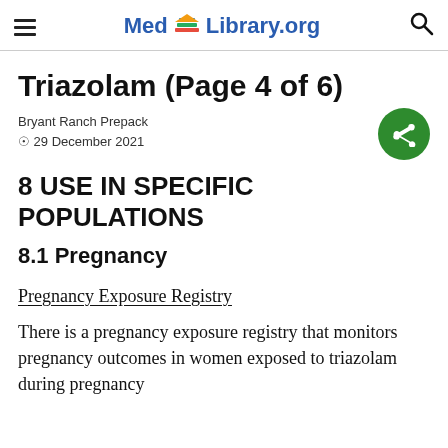Med Library.org
Triazolam (Page 4 of 6)
Bryant Ranch Prepack
29 December 2021
8 USE IN SPECIFIC POPULATIONS
8.1 Pregnancy
Pregnancy Exposure Registry
There is a pregnancy exposure registry that monitors pregnancy outcomes in women exposed to triazolam during pregnancy